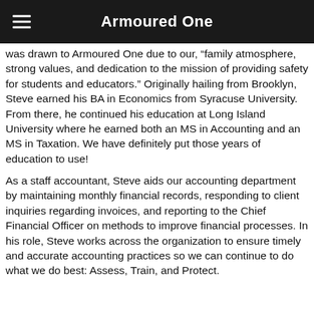Armoured One
was drawn to Armoured One due to our, “family atmosphere, strong values, and dedication to the mission of providing safety for students and educators.” Originally hailing from Brooklyn, Steve earned his BA in Economics from Syracuse University. From there, he continued his education at Long Island University where he earned both an MS in Accounting and an MS in Taxation. We have definitely put those years of education to use!
As a staff accountant, Steve aids our accounting department by maintaining monthly financial records, responding to client inquiries regarding invoices, and reporting to the Chief Financial Officer on methods to improve financial processes. In his role, Steve works across the organization to ensure timely and accurate accounting practices so we can continue to do what we do best: Assess, Train, and Protect.